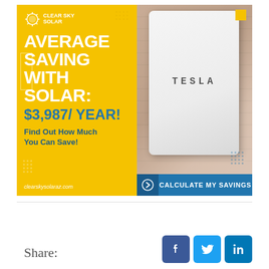[Figure (infographic): Clear Sky Solar advertisement. Yellow left panel with logo, headline 'AVERAGE SAVING WITH SOLAR: $3,987/ YEAR!', subtext 'Find Out How Much You Can Save!', website clearskysolaraz.com. Right panel shows a Tesla Powerwall battery unit mounted on a brick wall. Blue CTA bar at bottom: 'CALCULATE MY SAVINGS'.]
Share: